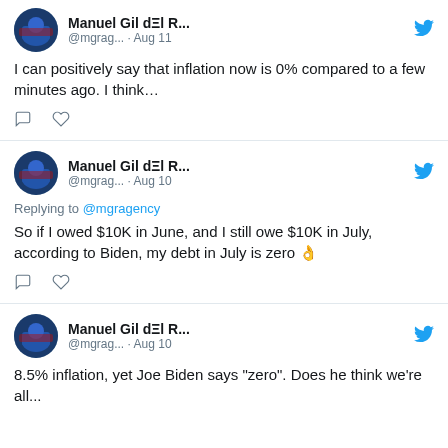[Figure (screenshot): Tweet by Manuel Gil dΞl R... (@mgrag...) on Aug 11: I can positively say that inflation now is 0% compared to a few minutes ago. I think…]
[Figure (screenshot): Tweet by Manuel Gil dΞl R... (@mgrag...) on Aug 10, replying to @mgragency: So if I owed $10K in June, and I still owe $10K in July, according to Biden, my debt in July is zero 👌]
[Figure (screenshot): Tweet by Manuel Gil dΞl R... (@mgrag...) on Aug 10: 8.5% inflation, yet Joe Biden says "zero". Does he think we're all...]